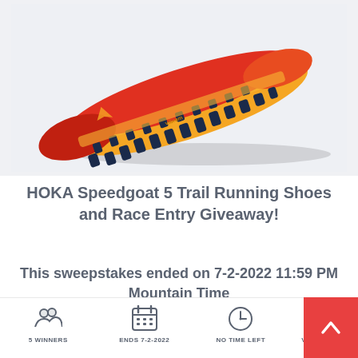[Figure (photo): Bottom sole view of a HOKA Speedgoat 5 trail running shoe with orange and red coloring, dark navy lugs, on a light gray background]
HOKA Speedgoat 5 Trail Running Shoes and Race Entry Giveaway!
This sweepstakes ended on 7-2-2022 11:59 PM Mountain Time
5 WINNERS
ENDS 7-2-2022
NO TIME LEFT
VIEW RULES